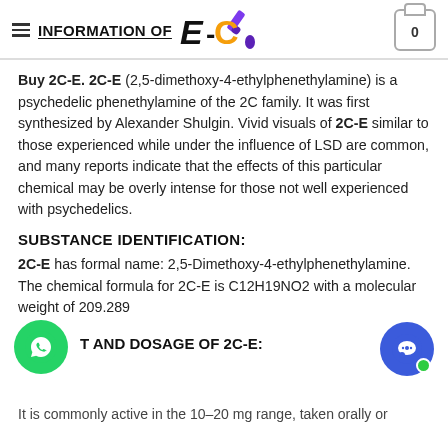INFORMATION OF E-C
Buy 2C-E. 2C-E (2,5-dimethoxy-4-ethylphenethylamine) is a psychedelic phenethylamine of the 2C family. It was first synthesized by Alexander Shulgin. Vivid visuals of 2C-E similar to those experienced while under the influence of LSD are common, and many reports indicate that the effects of this particular chemical may be overly intense for those not well experienced with psychedelics.
SUBSTANCE IDENTIFICATION:
2C-E has formal name: 2,5-Dimethoxy-4-ethylphenethylamine. The chemical formula for 2C-E is C12H19NO2 with a molecular weight of 209.289
T AND DOSAGE OF 2C-E:
It is commonly active in the 10–20 mg range, taken orally or